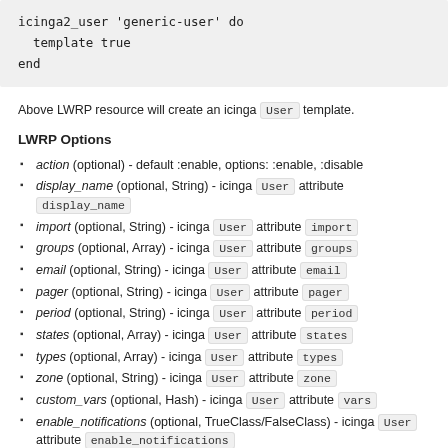icinga2_user 'generic-user' do
  template true
end
Above LWRP resource will create an icinga User template.
LWRP Options
action (optional) - default :enable, options: :enable, :disable
display_name (optional, String) - icinga User attribute display_name
import (optional, String) - icinga User attribute import
groups (optional, Array) - icinga User attribute groups
email (optional, String) - icinga User attribute email
pager (optional, String) - icinga User attribute pager
period (optional, String) - icinga User attribute period
states (optional, Array) - icinga User attribute states
types (optional, Array) - icinga User attribute types
zone (optional, String) - icinga User attribute zone
custom_vars (optional, Hash) - icinga User attribute vars
enable_notifications (optional, TrueClass/FalseClass) - icinga User attribute enable_notifications